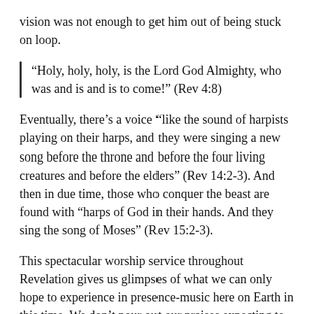vision was not enough to get him out of being stuck on loop.
“Holy, holy, holy, is the Lord God Almighty, who was and is and is to come!” (Rev 4:8)
Eventually, there’s a voice “like the sound of harpists playing on their harps, and they were singing a new song before the throne and before the four living creatures and before the elders” (Rev 14:2-3). And then in due time, those who conquer the beast are found with “harps of God in their hands. And they sing the song of Moses” (Rev 15:2-3).
This spectacular worship service throughout Revelation gives us glimpses of what we can only hope to experience in presence-music here on Earth in this time. We don’t pour out our praises expecting to get something out of it, but we do